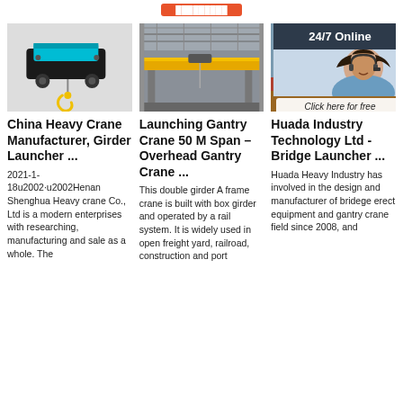[Figure (photo): Electric hoist/crane hook block with green motor housing and yellow hook, industrial equipment product photo]
China Heavy Crane Manufacturer, Girder Launcher ...
2021-1-18u2002·u2002Henan Shenghua Heavy crane Co., Ltd is a modern enterprises with researching, manufacturing and sale as a whole. The
[Figure (photo): Interior of industrial warehouse with overhead bridge crane on yellow girder rail system, steel roof structure]
Launching Gantry Crane 50 M Span – Overhead Gantry Crane ...
This double girder A frame crane is built with box girder and operated by a rail system. It is widely used in open freight yard, railroad, construction and port
[Figure (photo): Red launching gantry crane equipment in construction site, with live chat overlay showing 24/7 Online support, Click here for free chat, QUOTATION button]
Huada Industry Technology Ltd - Bridge Launcher ...
Huada Heavy Industry has involved in the design and manufacturer of bridege erect equipment and gantry crane field since 2008, and